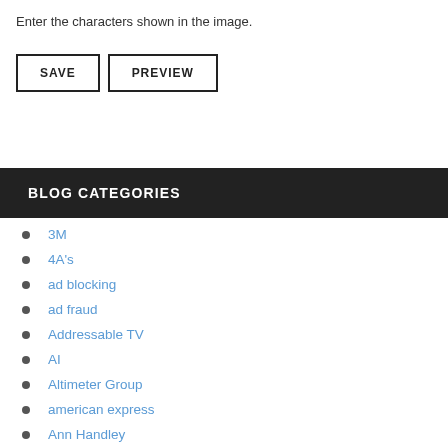Enter the characters shown in the image.
[Figure (other): SAVE and PREVIEW buttons]
BLOG CATEGORIES
3M
4A's
ad blocking
ad fraud
Addressable TV
AI
Altimeter Group
american express
Ann Handley